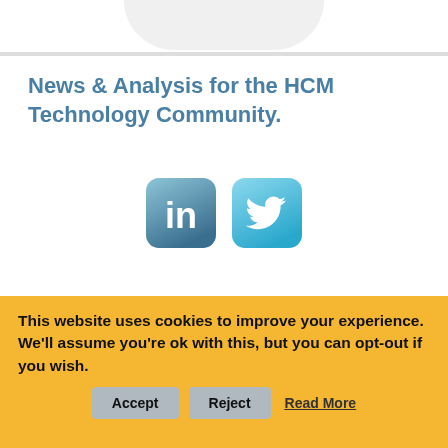News & Analysis for the HCM Technology Community.
[Figure (logo): LinkedIn and Twitter social media icons, rounded square buttons in blue gradient]
[Figure (logo): Evergreen logo with teal/green leaf droplet icon and bold black EVERGREEN text]
This website uses cookies to improve your experience. We'll assume you're ok with this, but you can opt-out if you wish. Accept  Reject  Read More